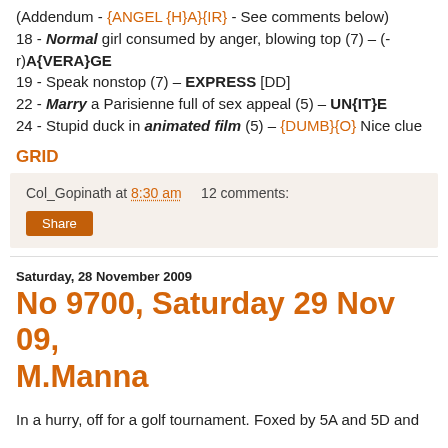(Addendum - {ANGEL {H}A}{IR} - See comments below) 18 - Normal girl consumed by anger, blowing top (7) – (-r)A{VERA}GE 19 - Speak nonstop (7) – EXPRESS [DD] 22 - Marry a Parisienne full of sex appeal (5) – UN{IT}E 24 - Stupid duck in animated film (5) – {DUMB}{O} Nice clue
GRID
Col_Gopinath at 8:30 am   12 comments:
Share
Saturday, 28 November 2009
No 9700, Saturday 29 Nov 09, M.Manna
In a hurry, off for a golf tournament. Foxed by 5A and 5D and